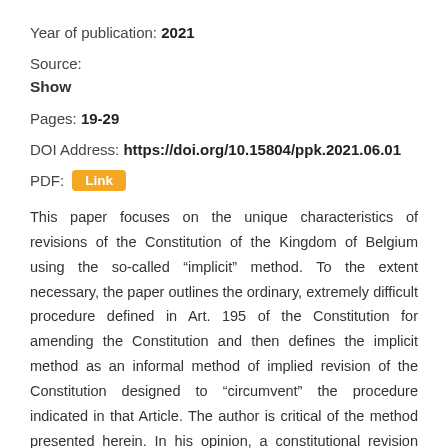Year of publication: 2021
Source:
Show
Pages: 19-29
DOI Address: https://doi.org/10.15804/ppk.2021.06.01
PDF: Link
This paper focuses on the unique characteristics of revisions of the Constitution of the Kingdom of Belgium using the so-called “implicit” method. To the extent necessary, the paper outlines the ordinary, extremely difficult procedure defined in Art. 195 of the Constitution for amending the Constitution and then defines the implicit method as an informal method of implied revision of the Constitution designed to “circumvent” the procedure indicated in that Article. The author is critical of the method presented herein. In his opinion, a constitutional revision carried out in this manner contributes to a devaluation of the importance of the Constitution while demonstrating the need for a reform of its